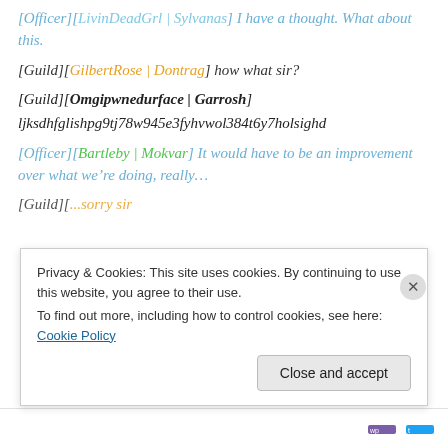[Officer][LivinDeadGrl | Sylvanas] I have a thought. What about this.
[Guild][GilbertRose | Dontrag] how what sir?
[Guild][Omgipwnedurface | Garrosh] ljksdhfglishpg9tj78w945e3fyhvwol384t6y7holsighd
[Officer][Bartleby | Mokvar] It would have to be an improvement over what we’re doing, really…
[Guild][...] ...sorry sir
Privacy & Cookies: This site uses cookies. By continuing to use this website, you agree to their use. To find out more, including how to control cookies, see here: Cookie Policy
Close and accept